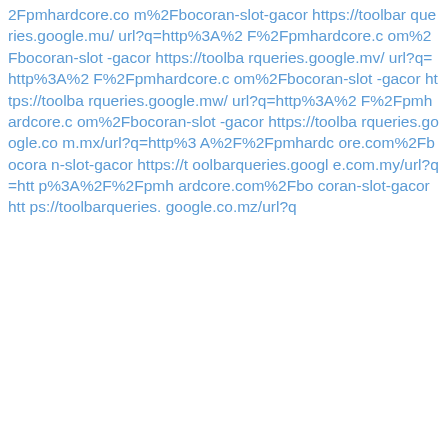2Fpmhardcore.com%2Fbocoran-slot-gacor https://toolbarqueries.google.mu/url?q=http%3A%2F%2Fpmhardcore.com%2Fbocoran-slot-gacor https://toolbarqueries.google.mv/url?q=http%3A%2F%2Fpmhardcore.com%2Fbocoran-slot-gacor https://toolbarqueries.google.mw/url?q=http%3A%2F%2Fpmhardcore.com%2Fbocoran-slot-gacor https://toolbarqueries.google.com.mx/url?q=http%3A%2F%2Fpmhardcore.com%2Fbocoran-slot-gacor https://toolbarqueries.google.com.my/url?q=http%3A%2F%2Fpmhardcore.com%2Fbocoran-slot-gacor htt ps://toolbarqueries.google.co.mz/url?q